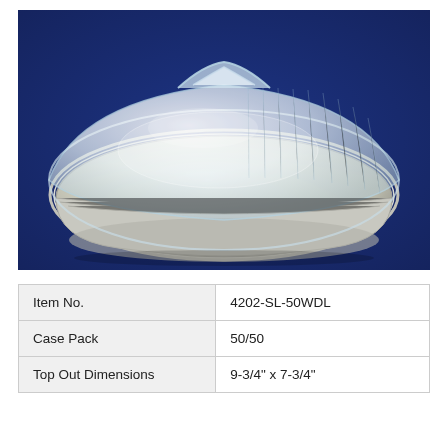[Figure (photo): An oval aluminum foil pan/tray with a clear plastic dome lid, photographed against a dark blue background. The container appears to be a disposable food container suitable for roasting or serving.]
| Item No. | 4202-SL-50WDL |
| Case Pack | 50/50 |
| Top Out Dimensions | 9-3/4" x 7-3/4" |